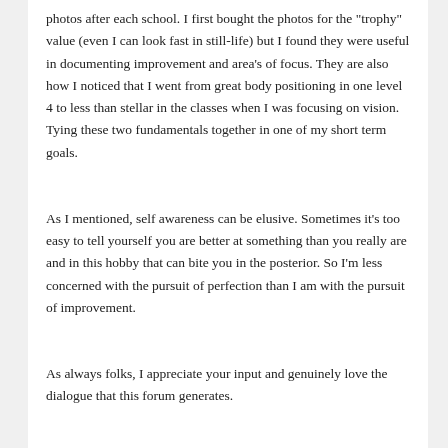photos after each school. I first bought the photos for the "trophy" value (even I can look fast in still-life) but I found they were useful in documenting improvement and area's of focus. They are also how I noticed that I went from great body positioning in one level 4 to less than stellar in the classes when I was focusing on vision. Tying these two fundamentals together in one of my short term goals.
As I mentioned, self awareness can be elusive. Sometimes it's too easy to tell yourself you are better at something than you really are and in this hobby that can bite you in the posterior. So I'm less concerned with the pursuit of perfection than I am with the pursuit of improvement.
As always folks, I appreciate your input and genuinely love the dialogue that this forum generates.
Best,